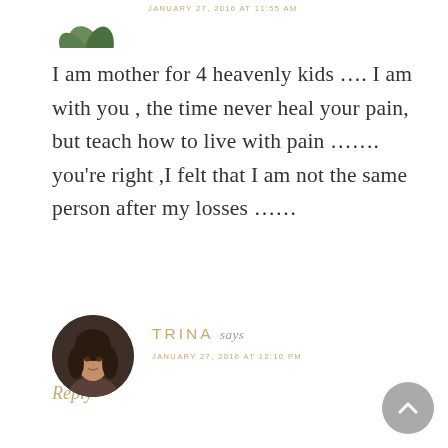[Figure (illustration): Partial plant/leaf avatar icon visible at top of page, cropped]
JANUARY 27, 2016 AT 11:55 AM
I am mother for 4 heavenly kids …. I am with you , the time never heal your pain, but teach how to live with pain ……. you're right ,I felt that I am not the same person after my losses ……
Reply
[Figure (photo): Circular profile photo of Trina, a woman with dark hair and bangs]
TRINA says
JANUARY 27, 2016 AT 12:10 PM